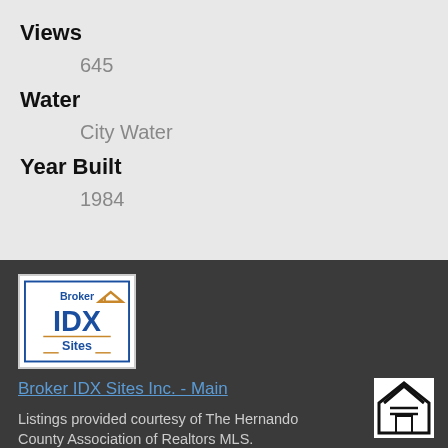Views
645
Water
City Water
Year Built
1984
[Figure (logo): Broker IDX Sites logo — blue IDX text with orange roof graphic, 'Broker' above and 'Sites' below with orange lines]
Broker IDX Sites Inc. - Main
Listings provided courtesy of The Hernando County Association of Realtors MLS.
[Figure (logo): Equal Housing Opportunity logo — house outline with equal sign]